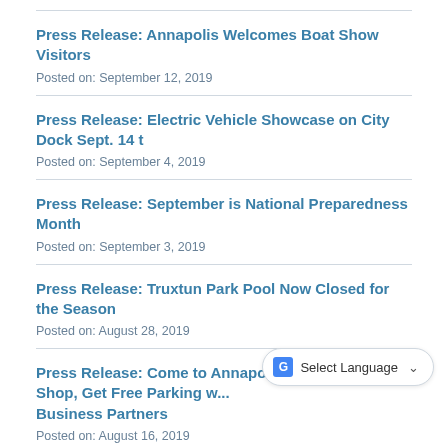Press Release: Annapolis Welcomes Boat Show Visitors
Posted on: September 12, 2019
Press Release: Electric Vehicle Showcase on City Dock Sept. 14 t
Posted on: September 4, 2019
Press Release: September is National Preparedness Month
Posted on: September 3, 2019
Press Release: Truxtun Park Pool Now Closed for the Season
Posted on: August 28, 2019
Press Release: Come to Annapolis to Dine and Shop, Get Free Parking w... Business Partners
Posted on: August 16, 2019